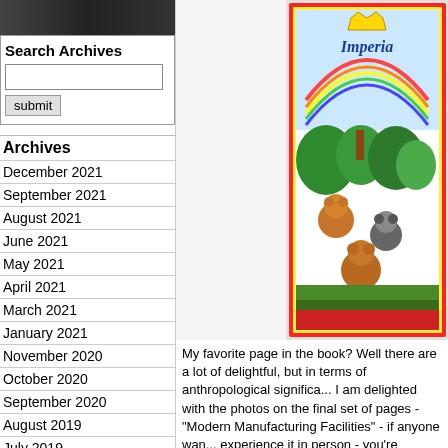[Figure (photo): Dark photo at top of sidebar showing indistinct items]
Search Archives
[Figure (screenshot): Search input box and submit button]
Archives
December 2021
September 2021
August 2021
June 2021
May 2021
April 2021
March 2021
January 2021
November 2020
October 2020
September 2020
August 2019
July 2019
June 2019
May 2019
March 2019
October 2018
September 2018
[Figure (illustration): Colorful children's book cover showing cartoon animals and the word Imperial with a crown logo and rainbow]
My favorite page in the book? Well there are a lot of delightful, but in terms of anthropological significance, I am delighted with the photos on the final set of pages - "Modern Manufacturing Facilities" - if anyone wants to experience it in person - you're welcome.
[Figure (photo): Bottom photo showing Imperial's exterior with text: EXTERIOR OF Imperial's 250,000 SQ.FT. HEADQUARTERS]